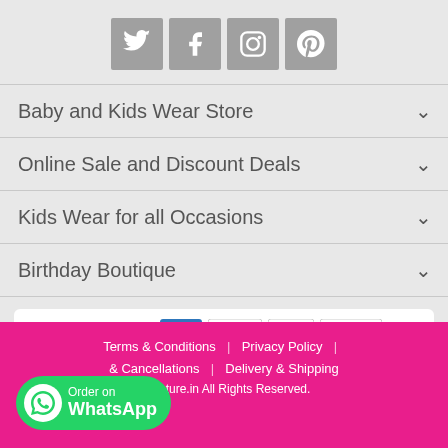[Figure (other): Social media icons: Twitter, Facebook, Instagram, Pinterest — square grey buttons with white icons]
Baby and Kids Wear Store
Online Sale and Discount Deals
Kids Wear for all Occasions
Birthday Boutique
[Figure (other): Payment method icons: VISA, MasterCard, Maestro, American Express, Net Banking, COD, Free Shipping]
Terms & Conditions | Privacy Policy | & Cancellations | Delivery & Shipping yCouture.in All Rights Reserved.
[Figure (other): WhatsApp order button: green pill button with WhatsApp icon, text 'Order on WhatsApp']